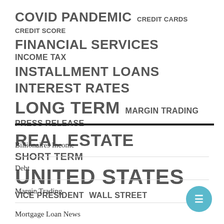[Figure (infographic): Tag cloud with financial topics in varying font sizes. Topics include: COVID PANDEMIC, CREDIT CARDS, CREDIT SCORE, FINANCIAL SERVICES, INCOME TAX, INSTALLMENT LOANS, INTEREST RATES, LONG TERM, MARGIN TRADING, PRESS RELEASE, REAL ESTATE, SHORT TERM, UNITED STATES, VICE PRESIDENT, WALL STREET]
Billionaires Income
Debt
Margin Trading
Mortgage Loan News